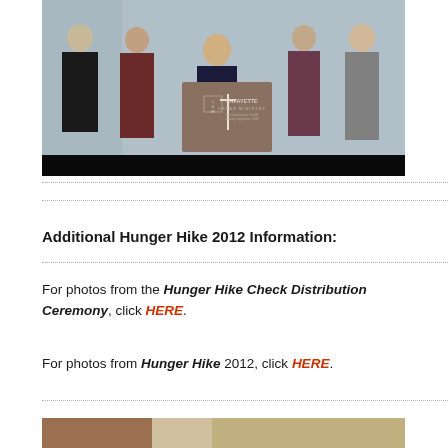[Figure (photo): Group photo of several people standing behind a podium with Lafayette Urban Ministry logo, in a room with light blue walls.]
Additional Hunger Hike 2012 Information:
For photos from the Hunger Hike Check Distribution Ceremony, click HERE.
For photos from Hunger Hike 2012, click HERE.
[Figure (photo): Partial photo visible at bottom of page.]